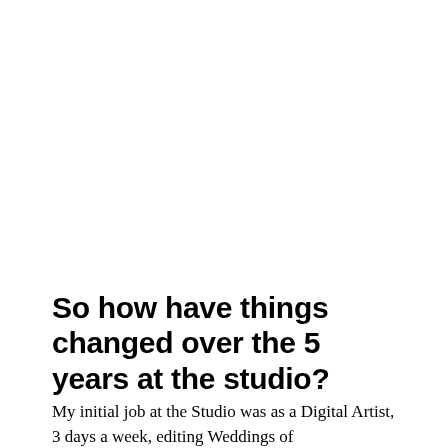So how have things changed over the 5 years at the studio?
My initial job at the Studio was as a Digital Artist, 3 days a week, editing Weddings of